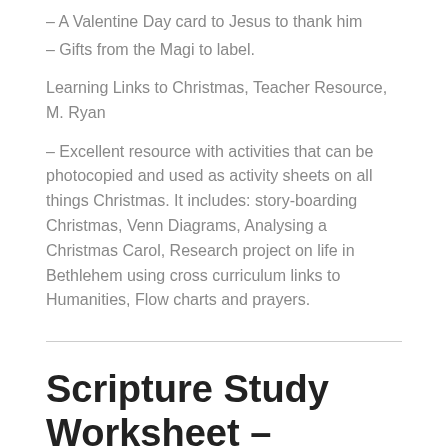– A Valentine Day card to Jesus to thank him
– Gifts from the Magi to label.
Learning Links to Christmas, Teacher Resource, M. Ryan
– Excellent resource with activities that can be photocopied and used as activity sheets on all things Christmas. It includes: story-boarding Christmas, Venn Diagrams, Analysing a Christmas Carol, Research project on life in Bethlehem using cross curriculum links to Humanities, Flow charts and prayers.
Scripture Study Worksheet – Advent &